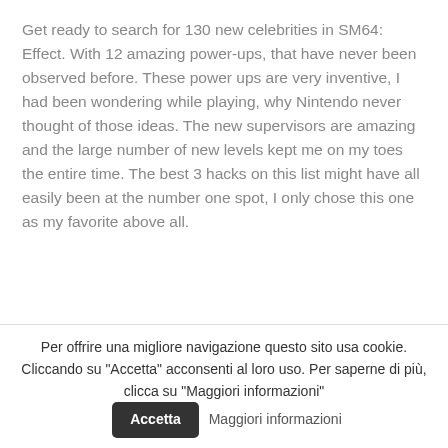Get ready to search for 130 new celebrities in SM64: Effect. With 12 amazing power-ups, that have never been observed before. These power ups are very inventive, I had been wondering while playing, why Nintendo never thought of those ideas. The new supervisors are amazing and the large number of new levels kept me on my toes the entire time. The best 3 hacks on this list might have all easily been at the number one spot, I only chose this one as my favorite above all.
04 Nov 20  By :  Temp User  Comments : 0
[Figure (other): About the Author section with a dark navy logo on the left and 'About the Author' text on the right]
Per offrire una migliore navigazione questo sito usa cookie. Cliccando su "Accetta" acconsenti al loro uso. Per saperne di più, clicca su "Maggiori informazioni"  Accetta  Maggiori informazioni